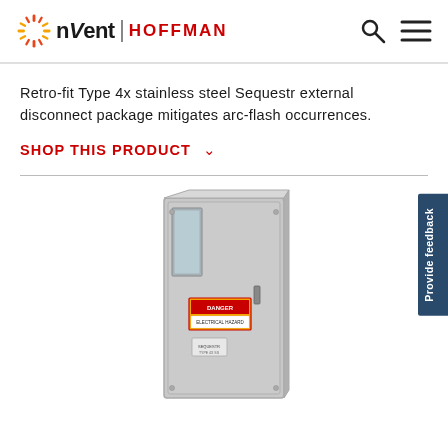[Figure (logo): nVent HOFFMAN logo with sunburst icon on left and search/menu icons on right in header]
Retro-fit Type 4x stainless steel Sequestr external disconnect package mitigates arc-flash occurrences.
SHOP THIS PRODUCT
[Figure (photo): Gray stainless steel electrical enclosure/disconnect box with a small window on the front door and a warning label, standing upright on white background]
Provide feedback